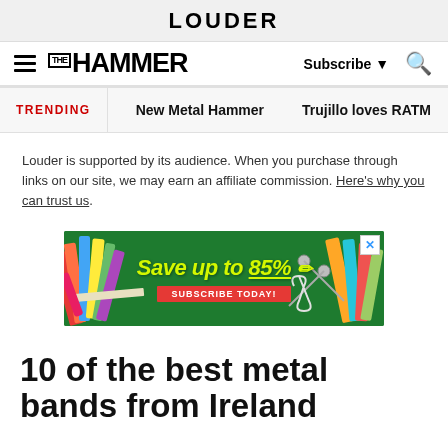LOUDER
METAL HAMMER | Subscribe | Search
TRENDING  New Metal Hammer  Trujillo loves RATM
Louder is supported by its audience. When you purchase through links on our site, we may earn an affiliate commission. Here's why you can trust us.
[Figure (other): Advertisement banner showing pencils and school supplies on a green background with yellow text reading 'Save up to 85%' and a red 'SUBSCRIBE TODAY!' button. Has a close X button in the top right.]
10 of the best metal bands from Ireland